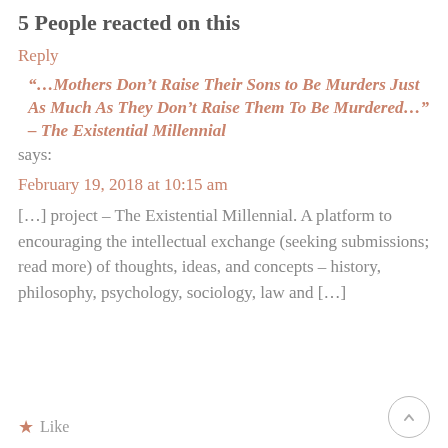5 People reacted on this
Reply
“…Mothers Don’t Raise Their Sons to Be Murders Just As Much As They Don’t Raise Them To Be Murdered…” – The Existential Millennial says:
February 19, 2018 at 10:15 am
[…] project – The Existential Millennial. A platform to encouraging the intellectual exchange (seeking submissions; read more) of thoughts, ideas, and concepts – history, philosophy, psychology, sociology, law and […]
★ Like